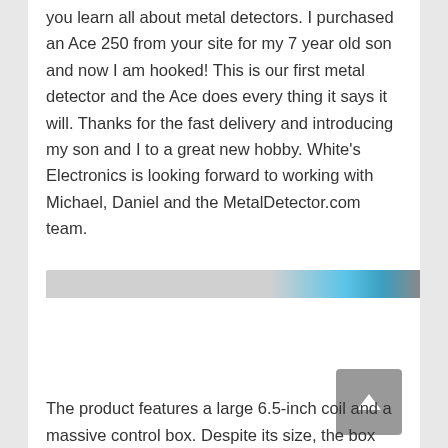you learn all about metal detectors. I purchased an Ace 250 from your site for my 7 year old son and now I am hooked! This is our first metal detector and the Ace does every thing it says it will. Thanks for the fast delivery and introducing my son and I to a great new hobby. White's Electronics is looking forward to working with Michael, Daniel and the MetalDetector.com team.
[Figure (photo): Partial photo strip showing a light gray/white area transitioning to a blue sky with a partial dark figure, cropped at the top of the image area.]
The product features a large 6.5-inch coil and a massive control box. Despite its size, the box